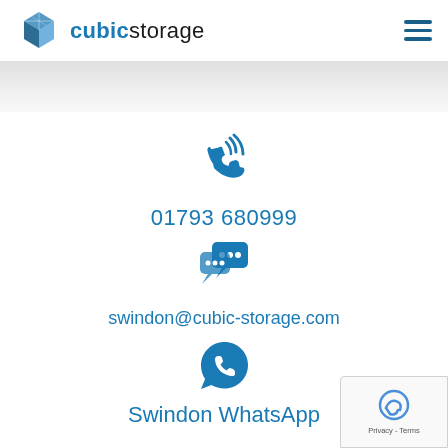[Figure (logo): Cubic Storage logo with cube icon and text 'cubicstorage']
[Figure (other): Phone/call icon in blue]
01793 680999
[Figure (other): Chat/messaging icon in blue]
swindon@cubic-storage.com
[Figure (other): WhatsApp icon in blue]
Swindon WhatsApp